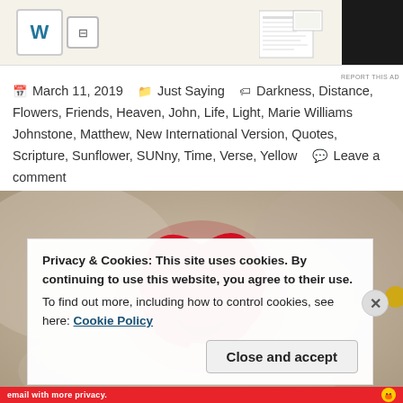[Figure (screenshot): WordPress advertisement banner at top of page showing WordPress logo, plugin icon, and a dark panel on the right with a document/table preview image. 'REPORT THIS AD' text appears below.]
📅 March 11, 2019  📁 Just Saying  🏷 Darkness, Distance, Flowers, Friends, Heaven, John, Life, Light, Marie Williams Johnstone, Matthew, New International Version, Quotes, Scripture, Sunflower, SUNny, Time, Verse, Yellow  💬 Leave a comment
[Figure (photo): Close-up photo of a vivid red carnation flower with soft blurred background of white and beige tones.]
Privacy & Cookies: This site uses cookies. By continuing to use this website, you agree to their use.
To find out more, including how to control cookies, see here: Cookie Policy
Close and accept
[Figure (screenshot): Bottom advertisement bar in red with duck mascot icon and text about email privacy.]